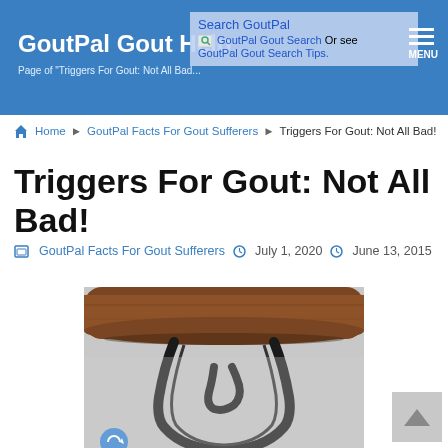GoutPal Gout Help
Page of "Triggers For Gout: Not All Bad..."
Search GoutPal GoutPal Gout Search Or see GoutPal Gout Search Tips.
MENU
Home ▶ GoutPal Facts For Gout Sufferers ▶ Triggers For Gout: Not All Bad!
Triggers For Gout: Not All Bad!
GoutPal Facts For Gout Sufferers   July 1, 2020   June 13, 2015
[Figure (photo): Close-up photo of a gun trigger mechanism showing wooden stock and black metal trigger guard]